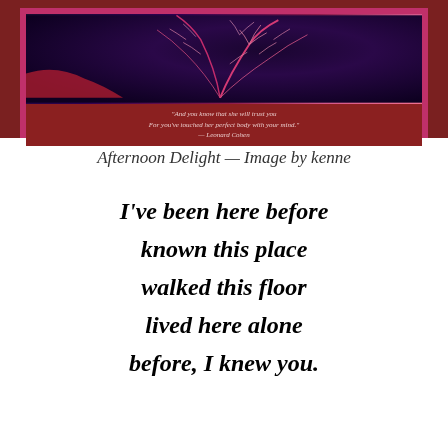[Figure (photo): Framed artwork photograph showing pink feathery grass/pampas against a dark purple/blue background, in a dark red wooden frame with pink inner mat. A quote by Leonard Cohen is visible at the bottom of the image: 'And you know that she will trust you / For you've touched her perfect body with your mind.' — Leonard Cohen]
Afternoon Delight — Image by kenne
I've been here before

known this place

walked this floor

lived here alone

before, I knew you.